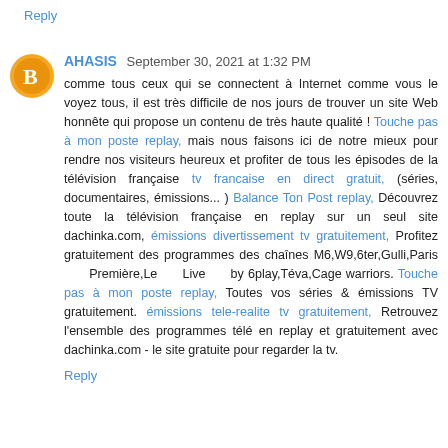Reply
AHASIS  September 30, 2021 at 1:32 PM
comme tous ceux qui se connectent à Internet comme vous le voyez tous, il est très difficile de nos jours de trouver un site Web honnête qui propose un contenu de très haute qualité ! Touche pas à mon poste replay, mais nous faisons ici de notre mieux pour rendre nos visiteurs heureux et profiter de tous les épisodes de la télévision française tv francaise en direct gratuit, (séries, documentaires, émissions... ) Balance Ton Post replay, Découvrez toute la télévision française en replay sur un seul site dachinka.com, émissions divertissement tv gratuitement, Profitez gratuitement des programmes des chaînes M6,W9,6ter,Gulli,Paris      Première,Le      Live      by 6play,Téva,Cage warriors. Touche pas à mon poste replay, Toutes vos séries & émissions TV gratuitement. émissions tele-realite tv gratuitement, Retrouvez l'ensemble des programmes télé en replay et gratuitement avec dachinka.com - le site gratuite pour regarder la tv.
Reply